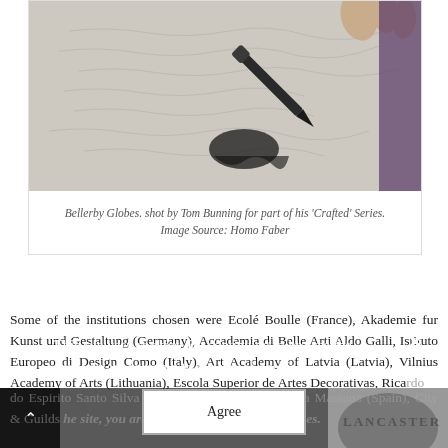[Figure (photo): Close-up photograph of hands using a brush or pen to work on a globe or map, writing intricate text/lines. The image is part of a series about globe-making craftsmanship.]
Bellerby Globes. shot by Tom Bunning for part of his 'Crafted' Series. Image Source: Homo Faber
Some of the institutions chosen were Ecolé Boulle (France), Akademie fur Kunst und Gestaltung (Germany), Accademia di Belle Arti Aldo Galli, Istituto Europeo di Design Como (Italy), Art Academy of Latvia (Latvia), Vilnius Academy of Arts (Lithuania), Escola Superior de Artes Decorativas, Ricardo do Espirito Santo Silva Foundation (Portugal), Escola Massana (Spain), City & Guilds London Institute of Art & Design, Buckinghamshire New University, Salzburg (Austria), UMPRUM, Academy of Arts, Architecture & Design (Czech Republic), Lancaster University, and many more. At IMM...
This site uses cookies. By continuing to browse the site, you are agreeing to our use of cookies.